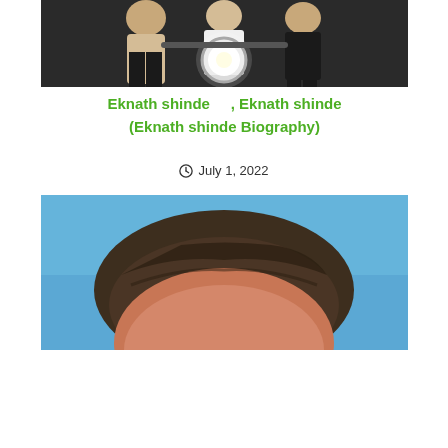[Figure (photo): Photo of people on a motorcycle, cropped view from top, headlight visible in center, dark background]
Eknath shinde    , Eknath shinde (Eknath shinde Biography)
July 1, 2022
[Figure (photo): Close-up photo of a person's head and forehead, blue background, brown/grey hair visible]